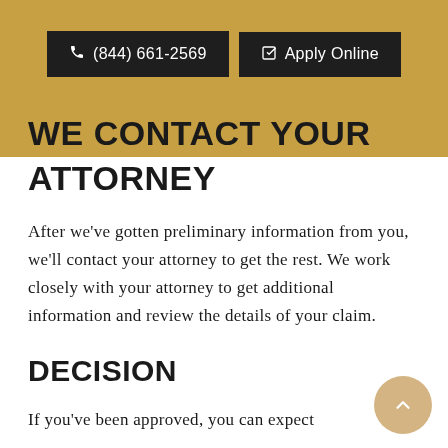(844) 661-2569  Apply Online
WE CONTACT YOUR ATTORNEY
After we've gotten preliminary information from you, we'll contact your attorney to get the rest. We work closely with your attorney to get additional information and review the details of your claim.
DECISION
If you've been approved, you can expect